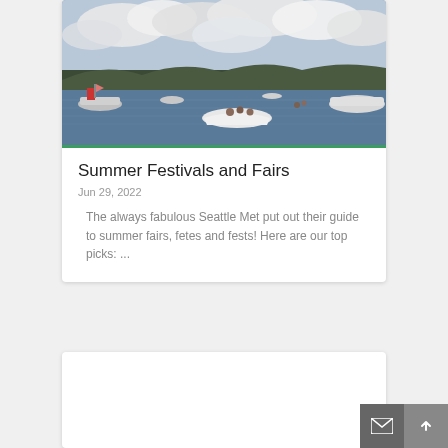[Figure (photo): Outdoor lake scene with boats on water, forested hills in background, cloudy sky above]
Summer Festivals and Fairs
Jun 29, 2022
The always fabulous Seattle Met put out their guide to summer fairs, fetes and fests! Here are our top picks: ...